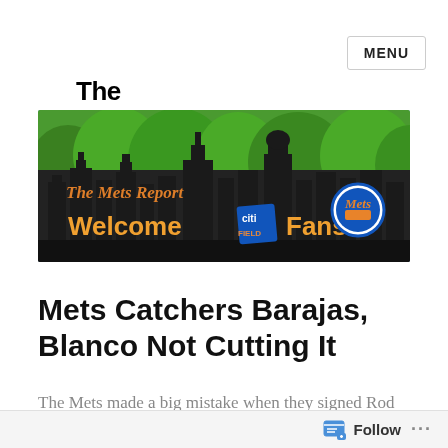The Mets Report
[Figure (illustration): The Mets Report banner image showing a city skyline silhouette against green trees, with orange text reading 'The Mets Report', and large white/orange text 'Welcome Fans!' with the Citi Field diamond logo and Mets circular logo in the center.]
Mets Catchers Barajas, Blanco Not Cutting It
The Mets made a big mistake when they signed Rod Barajas and Henry